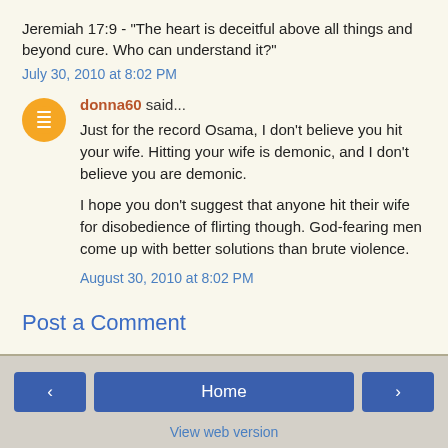Jeremiah 17:9 - "The heart is deceitful above all things and beyond cure. Who can understand it?"
July 30, 2010 at 8:02 PM
donna60 said...
Just for the record Osama, I don't believe you hit your wife. Hitting your wife is demonic, and I don't believe you are demonic.

I hope you don't suggest that anyone hit their wife for disobedience of flirting though. God-fearing men come up with better solutions than brute violence.
August 30, 2010 at 8:02 PM
Post a Comment
Home | View web version